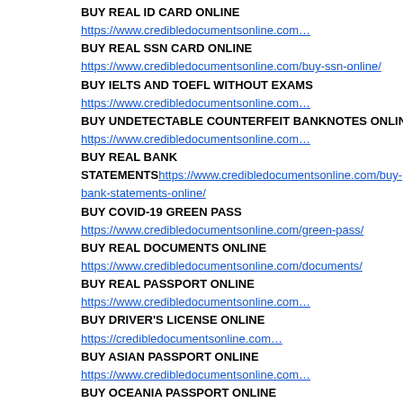BUY REAL ID CARD ONLINE https://www.credibledocumentsonline.com…
BUY REAL SSN CARD ONLINE https://www.credibledocumentsonline.com/buy-ssn-online/
BUY IELTS AND TOEFL WITHOUT EXAMS
https://www.credibledocumentsonline.com…
BUY UNDETECTABLE COUNTERFEIT BANKNOTES ONLINE
https://www.credibledocumentsonline.com…
BUY REAL BANK STATEMENTShttps://www.credibledocumentsonline.com/buy-bank-statements-online/
BUY COVID-19 GREEN PASS https://www.credibledocumentsonline.com/green-pass/
BUY REAL DOCUMENTS ONLINE
https://www.credibledocumentsonline.com/documents/
BUY REAL PASSPORT ONLINE https://www.credibledocumentsonline.com…
BUY DRIVER'S LICENSE ONLINE https://credibledocumentsonline.com…
BUY ASIAN PASSPORT ONLINE https://www.credibledocumentsonline.com…
BUY OCEANIA PASSPORT ONLINE https://www.credibledocumentsonline.com…
BUY EU PASSPORT ONLINE https://www.credibledocumentsonline.com…
APPLY FOR TRAVEL VISA ONLINE https://www.credibledocumentsonline.com…
BUY RESIDENCE PERMIT ONLINEN https://www.credibledocumentsonline.com…
BUY REAL ID CARD ONLINE https://www.credibledocumentsonline.com…
BUY REAL SSN CARD ONLINE https://www.credibledocumentsonline.com/buy-ssn-online/
BUY IELTS AND TOEFL WITHOUT EXAMS